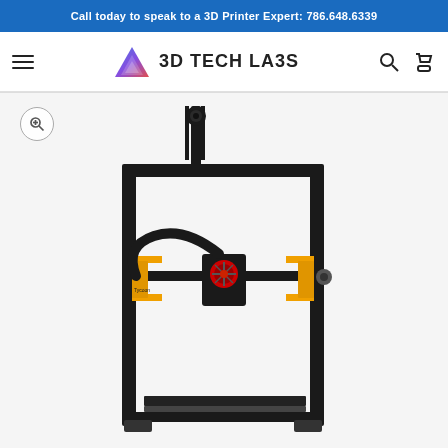Call today to speak to a 3D Printer Expert: 786.648.6339
[Figure (logo): 3D Tech Labs logo with triangular geometric icon and bold text]
[Figure (photo): 3D printer product photo showing a black frame FDM 3D printer with orange accents, cable management tube, print head assembly, and build plate. Brand appears to be Tycoon or similar.]